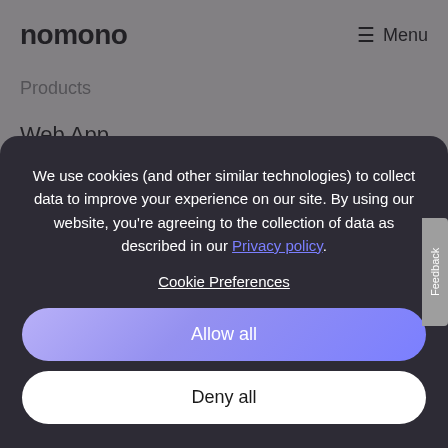nomono  ☰ Menu
Products
Web App
Sound Capsule
Legal
We use cookies (and other similar technologies) to collect data to improve your experience on our site. By using our website, you're agreeing to the collection of data as described in our Privacy policy.

Cookie Preferences
Allow all
Deny all